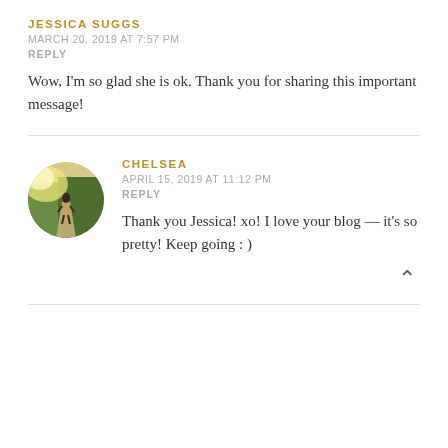JESSICA SUGGS
MARCH 20, 2019 AT 7:57 PM
REPLY
Wow, I'm so glad she is ok. Thank you for sharing this important message!
CHELSEA
APRIL 15, 2019 AT 11:12 PM
REPLY
Thank you Jessica! xo! I love your blog — it's so pretty! Keep going : )